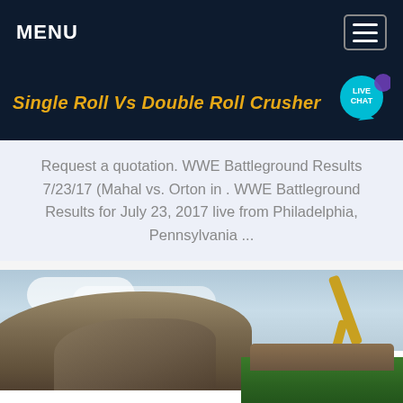MENU
Single Roll Vs Double Roll Crusher
Request a quotation. WWE Battleground Results 7/23/17 (Mahal vs. Orton in . WWE Battleground Results for July 23, 2017 live from Philadelphia, Pennsylvania ...
[Figure (photo): Excavator arm loading rocks into a green crushing machine, with mound of rocks and cloudy sky in background]
Get a Quote
WhatsApp